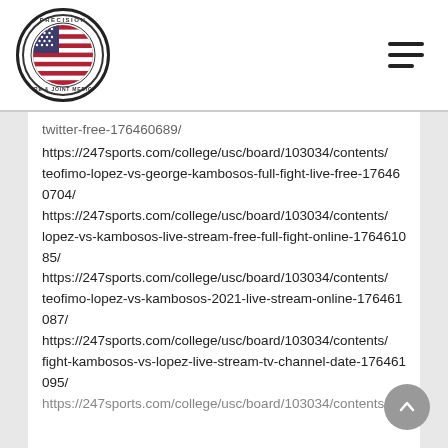Precision Care & Joint Medical (logo) | Navigation menu
twitter-free-176460689/
https://247sports.com/college/usc/board/103034/contents/teofimo-lopez-vs-george-kambosos-full-fight-live-free-176460704/
https://247sports.com/college/usc/board/103034/contents/lopez-vs-kambosos-live-stream-free-full-fight-online-176461085/
https://247sports.com/college/usc/board/103034/contents/teofimo-lopez-vs-kambosos-2021-live-stream-online-176461087/
https://247sports.com/college/usc/board/103034/contents/fight-kambosos-vs-lopez-live-stream-tv-channel-date-176461095/
https://247sports.com/college/usc/board/103034/contents/